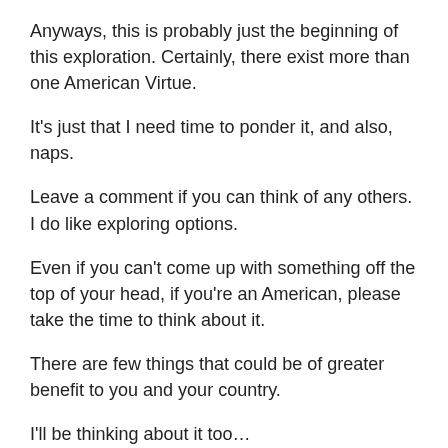Anyways, this is probably just the beginning of this exploration. Certainly, there exist more than one American Virtue.
It's just that I need time to ponder it, and also, naps.
Leave a comment if you can think of any others. I do like exploring options.
Even if you can't come up with something off the top of your head, if you're an American, please take the time to think about it.
There are few things that could be of greater benefit to you and your country.
I'll be thinking about it too…
…but first, a nap.